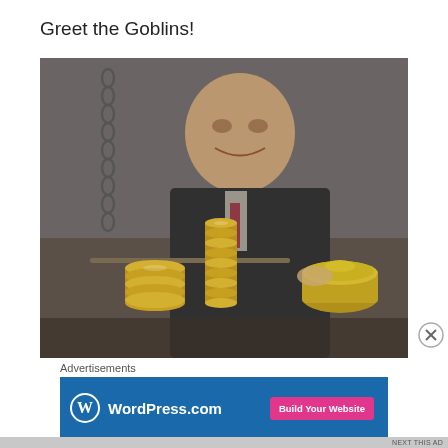Greet the Goblins!
[Figure (photo): A goblin character in a dark suit examining stacks of gold coins on a balance scale, with a brass pot in hand. Close-up theatrical scene from what appears to be a Harry Potter-style attraction.]
Advertisements
[Figure (screenshot): WordPress.com advertisement banner with blue background, WordPress logo on the left, and a pink 'Build Your Website' button on the right.]